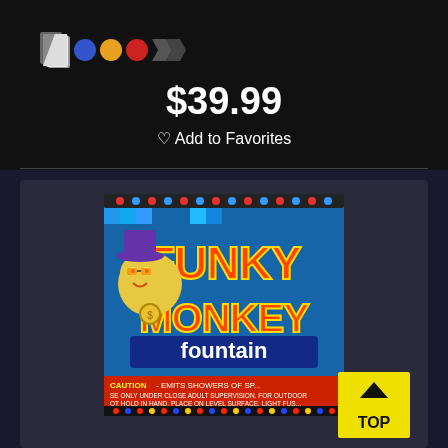[Figure (screenshot): Color swatches icon row showing palette icon and colored circles: blue, yellow/orange, red, dark gray shapes]
$39.99
♡ Add to Favorites
[Figure (photo): Product photo of Funky Monkey Fountain firework box. The box has colorful branding with cartoon monkey in a purple hat and gold chain, text reads 'FUNKY MONKEY fountain'. Bottom has CAUTION warning text about emitting showers of sparks.]
[Figure (other): Yellow TOP button with upward arrow chevron in bottom right corner]